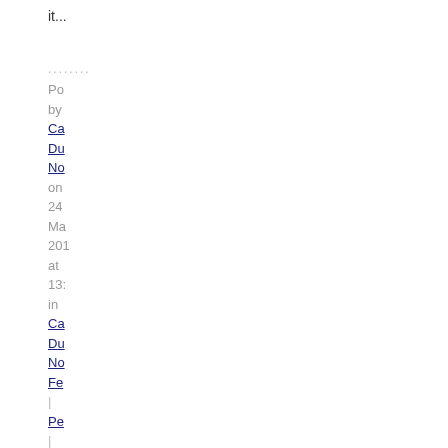it...
........
Posted by Cat... Du... No... on 24 Ma... 201... at 13:... in Cat... Du... No... Fe... | Pe... | Co... (29) | Tra... (0)